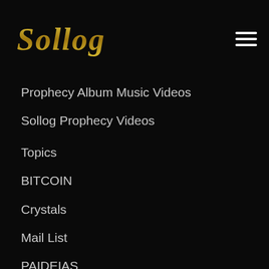Sollog
Prophecy Album Music Videos
Sollog Prophecy Videos
Topics
BITCOIN
Crystals
Mail List
PAIDEIAS
Social Media
TOH
Websites
Yes No